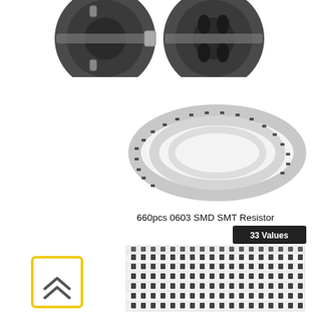[Figure (photo): Two circular metal clamp/pulley mechanical components with bolts, shown side by side at the top of the page]
[Figure (photo): A coiled white SMD resistor tape reel, showing small components on a narrow tape wound in a circular coil]
660pcs 0603 SMD SMT Resistor
[Figure (photo): Stack of SMD resistor strips labeled '33 Values', showing multiple white tape strips with small black SMD components arranged in rows]
[Figure (other): Yellow square button with double up-arrow (chevron) icon, positioned at lower left]